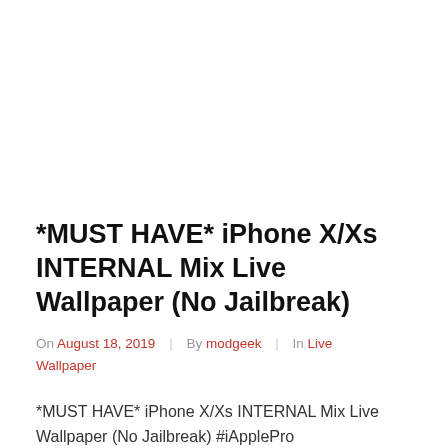*MUST HAVE* iPhone X/Xs INTERNAL Mix Live Wallpaper (No Jailbreak)
On August 18, 2019 | By modgeek | In Live Wallpaper
*MUST HAVE* iPhone X/Xs INTERNAL Mix Live Wallpaper (No Jailbreak) #iApplePro #iPhoneX/XsLiveWallpaper In this video, i would like